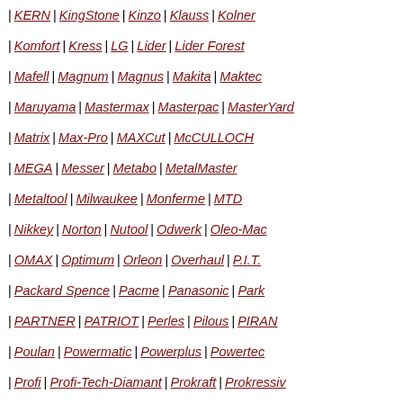KERN | KingStone | Kinzo | Klauss | Kolner
Komfort | Kress | LG | Lider | Lider Forest
Mafell | Magnum | Magnus | Makita | Maktec
Maruyama | Mastermax | Masterpac | MasterYard
Matrix | Max-Pro | MAXCut | McCULLOCH
MEGA | Messer | Metabo | MetalMaster
Metaltool | Milwaukee | Monferme | MTD
Nikkey | Norton | Nutool | Odwerk | Oleo-Mac
OMAX | Optimum | Orleon | Overhaul | P.I.T.
Packard Spence | Pacme | Panasonic | Park
PARTNER | PATRIOT | Perles | Pilous | PIRAN
Poulan | Powermatic | Powerplus | Powertec
Profi | Profi-Tech-Diamant | Prokraft | Prokressiv
Proma | PRORAB | Protool | Prowork | Proxxon
RBT | Rebir | RedVerg | REMS | RIDGID
Rosomaha | Roteri | RUBI | RUSSLAND | RWS
RYOBI | Saber | Sadko | Sakuma | SBM group
SCHEPPACH | SCHMIDT&MESSER | SD-Master